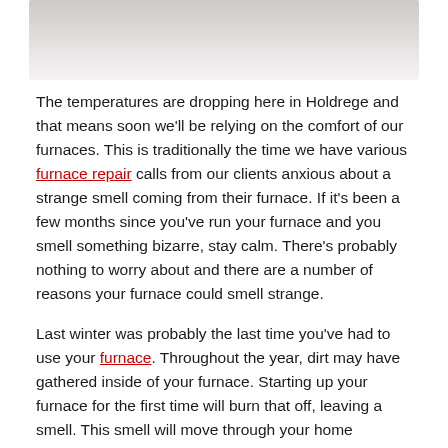[Figure (photo): Partial photo at top of page, appears to show a light-colored/white subject, cropped]
The temperatures are dropping here in Holdrege and that means soon we'll be relying on the comfort of our furnaces. This is traditionally the time we have various furnace repair calls from our clients anxious about a strange smell coming from their furnace. If it's been a few months since you've run your furnace and you smell something bizarre, stay calm. There's probably nothing to worry about and there are a number of reasons your furnace could smell strange.
Last winter was probably the last time you've had to use your furnace. Throughout the year, dirt may have gathered inside of your furnace. Starting up your furnace for the first time will burn that off, leaving a smell. This smell will move through your home